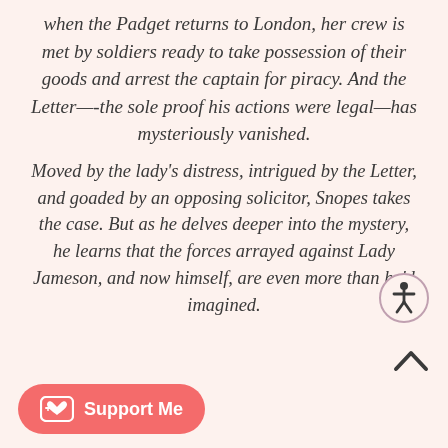when the Padget returns to London, her crew is met by soldiers ready to take possession of their goods and arrest the captain for piracy. And the Letter—-the sole proof his actions were legal—has mysteriously vanished.
Moved by the lady's distress, intrigued by the Letter, and goaded by an opposing solicitor, Snopes takes the case. But as he delves deeper into the mystery, he learns that the forces arrayed against Lady Jameson, and now himself, are even more than he'd imagined.